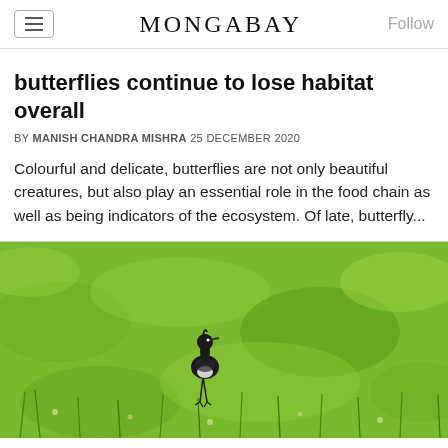MONGABAY
butterflies continue to lose habitat overall
BY MANISH CHANDRA MISHRA 25 DECEMBER 2020
Colourful and delicate, butterflies are not only beautiful creatures, but also play an essential role in the food chain as well as being indicators of the ecosystem. Of late, butterfly...
[Figure (photo): A black and white bird standing in a green grassy field]